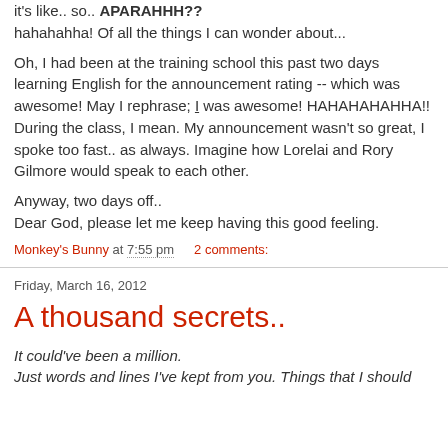it's like.. so.. APARAHHH??
hahahahha! Of all the things I can wonder about...
Oh, I had been at the training school this past two days learning English for the announcement rating -- which was awesome! May I rephrase; I was awesome! HAHAHAHAHHA!!
During the class, I mean. My announcement wasn't so great, I spoke too fast.. as always. Imagine how Lorelai and Rory Gilmore would speak to each other.
Anyway, two days off..
Dear God, please let me keep having this good feeling.
Monkey's Bunny at 7:55 pm    2 comments:
Friday, March 16, 2012
A thousand secrets..
It could've been a million.
Just words and lines I've kept from you. Things that I should